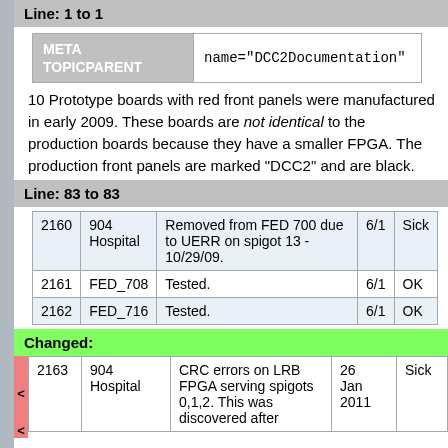Line: 1 to 1
| META TOPICPARENT | name="DCC2Documentation" |
| --- | --- |
10 Prototype boards with red front panels were manufactured in early 2009. These boards are not identical to the production boards because they have a smaller FPGA. The production front panels are marked "DCC2" and are black.
Line: 83 to 83
| 2160 | 904 Hospital | Removed from FED 700 due to UERR on spigot 13 - 10/29/09. | 6/1 | Sick |
| 2161 | FED_708 | Tested. | 6/1 | OK |
| 2162 | FED_716 | Tested. | 6/1 | OK |
Changed:
| 2163 | 904 Hospital | CRC errors on LRB FPGA serving spigots 0,1,2. This was discovered after | 26 Jan 2011 | Sick |